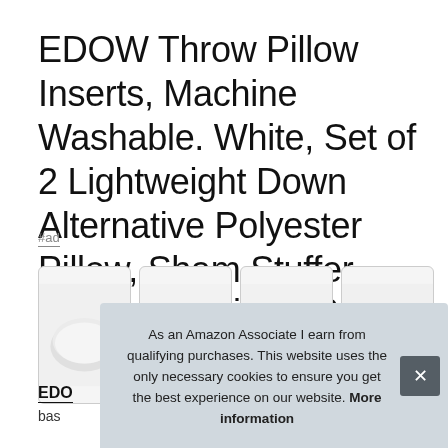EDOW Throw Pillow Inserts, Machine Washable. White, Set of 2 Lightweight Down Alternative Polyester Pillow, Sham Stuffer, Couch Cushion, 20x20
#ad
[Figure (photo): Four thumbnail images of white pillow inserts shown against white backgrounds, with rounded-rectangle borders]
EDO
bas
As an Amazon Associate I earn from qualifying purchases. This website uses the only necessary cookies to ensure you get the best experience on our website. More information